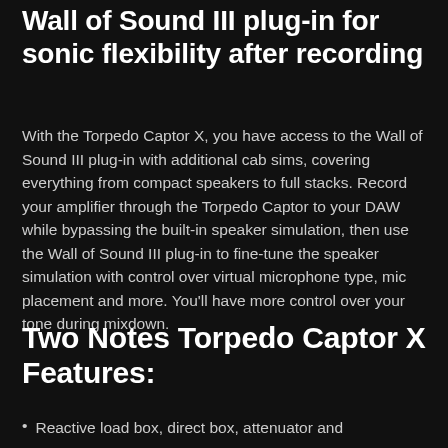Wall of Sound III plug-in for sonic flexibility after recording
With the Torpedo Captor X, you have access to the Wall of Sound III plug-in with additional cab sims, covering everything from compact speakers to full stacks. Record your amplifier through the Torpedo Captor to your DAW while bypassing the built-in speaker simulation, then use the Wall of Sound III plug-in to fine-tune the speaker simulation with control over virtual microphone type, mic placement and more. You'll have more control over your tone during mixdown.
Two Notes Torpedo Captor X Features:
Reactive load box, direct box, attenuator and